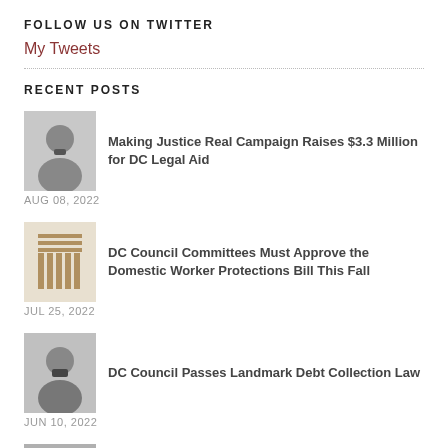FOLLOW US ON TWITTER
My Tweets
RECENT POSTS
Making Justice Real Campaign Raises $3.3 Million for DC Legal Aid
AUG 08, 2022
DC Council Committees Must Approve the Domestic Worker Protections Bill This Fall
JUL 25, 2022
DC Council Passes Landmark Debt Collection Law
JUN 10, 2022
D.C. Courts Recognize 4,500+